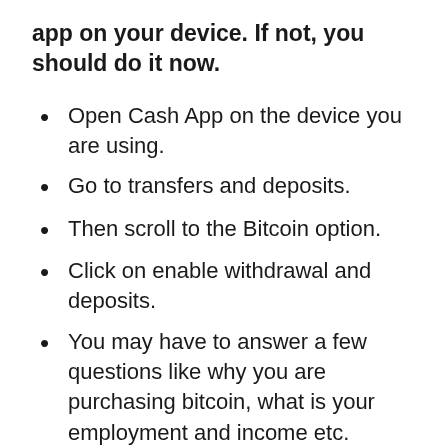app on your device. If not, you should do it now.
Open Cash App on the device you are using.
Go to transfers and deposits.
Then scroll to the Bitcoin option.
Click on enable withdrawal and deposits.
You may have to answer a few questions like why you are purchasing bitcoin, what is your employment and income etc.
Next, enter your email address which should be the same that you